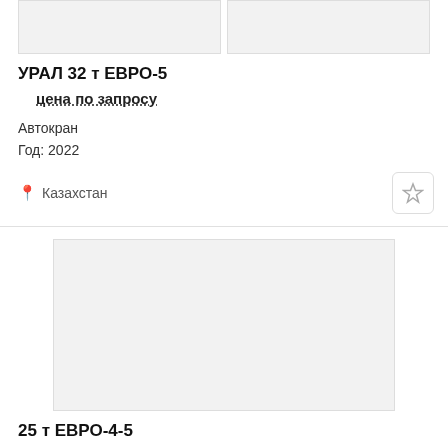[Figure (photo): Two image placeholders for vehicle listing]
УРАЛ 32 т ЕВРО-5
цена по запросу
Автокран
Год: 2022
Казахстан
[Figure (photo): Single large image placeholder for second vehicle listing]
25 т ЕВРО-4-5
цена по запросу